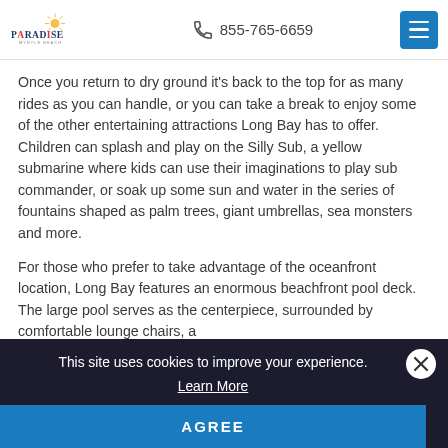Paradise Myrtle Beach | 855-765-6659
Once you return to dry ground it's back to the top for as many rides as you can handle, or you can take a break to enjoy some of the other entertaining attractions Long Bay has to offer. Children can splash and play on the Silly Sub, a yellow submarine where kids can use their imaginations to play sub commander, or soak up some sun and water in the series of fountains shaped as palm trees, giant umbrellas, sea monsters and more.
For those who prefer to take advantage of the oceanfront location, Long Bay features an enormous beachfront pool deck. The large pool serves as the centerpiece, surrounded by comfortable lounge chairs, a
This site uses cookies to improve your experience.
Learn More
AGREE